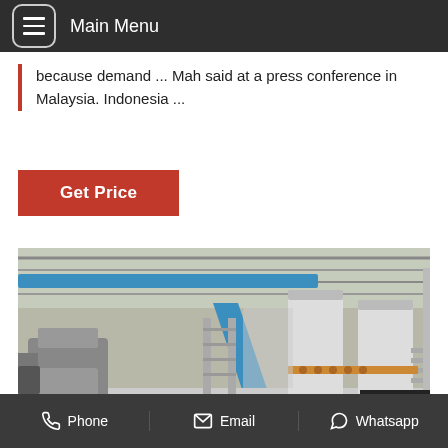Main Menu
because demand ... Mah said at a press conference in Malaysia. Indonesia ...
Get Price
[Figure (photo): Industrial palm oil processing plant interior showing large machinery including a grey screw press on the left and tall white cylindrical storage/processing tanks on the right, connected by blue structural beams and pipes, inside a factory with a translucent roof.]
Phone   Email   Whatsapp